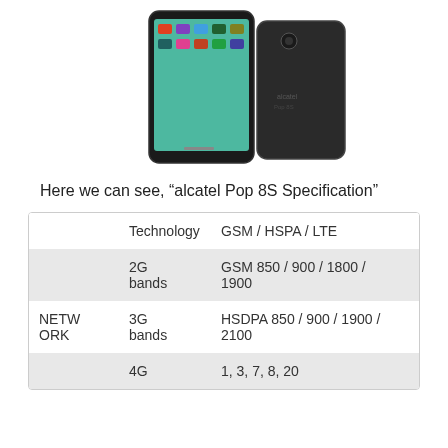[Figure (photo): Product photo of alcatel Pop 8S tablet showing front screen with Android UI and back view (black)]
Here we can see, "alcatel Pop 8S Specification"
|  |  |  |
| --- | --- | --- |
|  | Technology | GSM / HSPA / LTE |
|  | 2G bands | GSM 850 / 900 / 1800 / 1900 |
| NETWORK | 3G bands | HSDPA 850 / 900 / 1900 / 2100 |
|  | 4G | 1, 3, 7, 8, 20 |